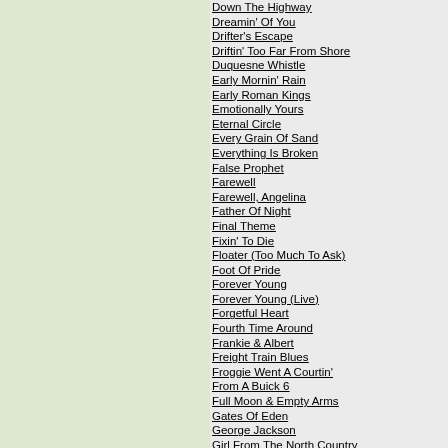Down The Highway
Dreamin' Of You
Drifter's Escape
Driftin' Too Far From Shore
Duquesne Whistle
Early Mornin' Rain
Early Roman Kings
Emotionally Yours
Eternal Circle
Every Grain Of Sand
Everything Is Broken
False Prophet
Farewell
Farewell, Angelina
Father Of Night
Final Theme
Fixin' To Die
Floater (Too Much To Ask)
Foot Of Pride
Forever Young
Forever Young (Live)
Forgetful Heart
Fourth Time Around
Frankie & Albert
Freight Train Blues
Froggie Went A Courtin'
From A Buick 6
Full Moon & Empty Arms
Gates Of Eden
George Jackson
Girl From The North Country
Girl From The North Country (Bob Dylan with John Cash)
God Knows
Goin' To Acapulco (Bob Dylan & The Band)
Going, Going, Gone
Golden Loom
Gonna Change My Way Of Thinking